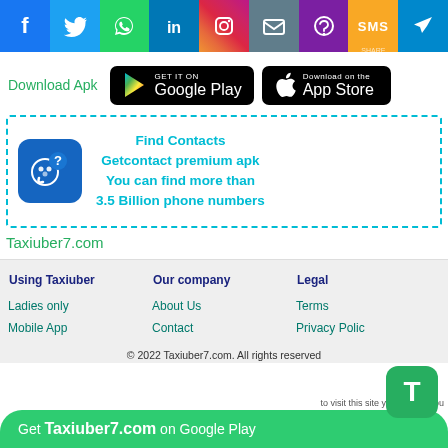[Figure (infographic): Social media sharing icons bar: Facebook, Twitter, WhatsApp, LinkedIn, Instagram, Email, Viber, SMS, Telegram]
[Figure (infographic): Download Apk section with Google Play and App Store buttons]
[Figure (infographic): Find Contacts ad box with phone icon logo, cyan dashed border, text: Find Contacts, Getcontact premium apk, You can find more than 3.5 Billion phone numbers]
Taxiuber7.com
| Using Taxiuber | Our company | Legal |
| --- | --- | --- |
| Ladies only | About Us | Terms |
| Mobile App | Contact | Privacy Polic... |
© 2022 Taxiuber7.com. All rights reserved
Get Taxiuber7.com on Google Play